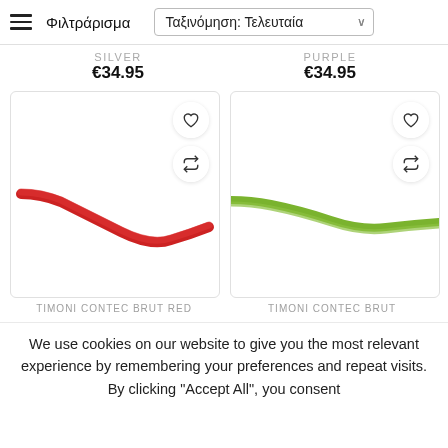Φιλτράρισμα   Ταξινόμηση: Τελευταία
SILVER  €34.95
PURPLE  €34.95
[Figure (photo): Red bicycle handlebar product image on white background with wishlist and compare icons]
[Figure (photo): Green bicycle handlebar product image on white background with wishlist and compare icons]
TIMONI CONTEC BRUT RED
TIMONI CONTEC BRUT
We use cookies on our website to give you the most relevant experience by remembering your preferences and repeat visits. By clicking "Accept All", you consent